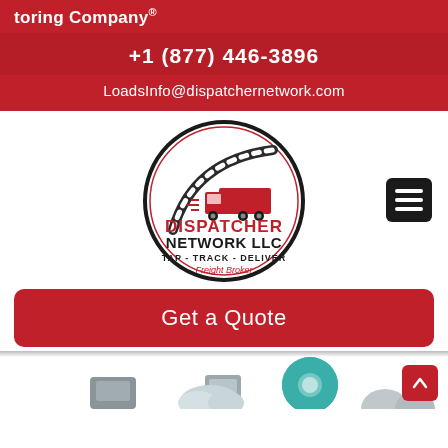toring Company
+1 (877) 446-3896
LoadsInfo@dispatchernetwork.com
[Figure (logo): Dispatcher Network LLC logo — circular logo with a red semi-truck, swoosh lines, text reading DISPATCHER NETWORK LLC TAP - TRACK - DELIVER Freight Broker]
Get a Quote
[Figure (illustration): Bottom section with cloud/technology icons partially visible]